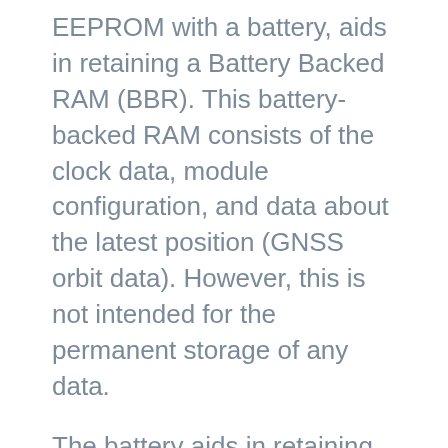EEPROM with a battery, aids in retaining a Battery Backed RAM (BBR). This battery-backed RAM consists of the clock data, module configuration, and data about the latest position (GNSS orbit data). However, this is not intended for the permanent storage of any data.
The battery aids in retaining time and last location, and in the process, TTFF is significantly reduced to 1 second. It hence gives an allowance of faster locks of position. On the other hand, the absence of a battery makes the GPS cold start always, and therefore driving to the GPS lock may take more time. However, on supplying power, the battery automatically charges, and there is